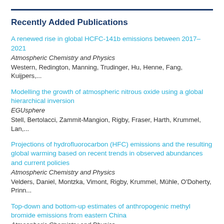Recently Added Publications
A renewed rise in global HCFC-141b emissions between 2017–2021
Atmospheric Chemistry and Physics
Western, Redington, Manning, Trudinger, Hu, Henne, Fang, Kuijpers,...
Modelling the growth of atmospheric nitrous oxide using a global hierarchical inversion
EGUsphere
Stell, Bertolacci, Zammit-Mangion, Rigby, Fraser, Harth, Krummel, Lan,...
Projections of hydrofluorocarbon (HFC) emissions and the resulting global warming based on recent trends in observed abundances and current policies
Atmospheric Chemistry and Physics
Velders, Daniel, Montzka, Vimont, Rigby, Krummel, Mühle, O'Doherty, Prinn...
Top-down and bottom-up estimates of anthropogenic methyl bromide emissions from eastern China
Atmospheric Chemistry and Physics
Choi, Park, Fraser, Park, Geum, Mühle, Kim, Porter, Salameh, Harth, Dunse...